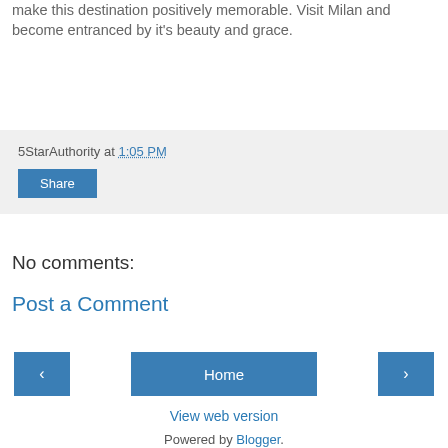make this destination positively memorable. Visit Milan and become entranced by it's beauty and grace.
5StarAuthority at 1:05 PM
Share
No comments:
Post a Comment
‹
Home
›
View web version
Powered by Blogger.